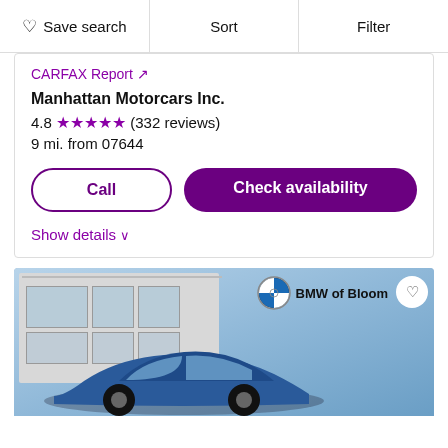Save search | Sort | Filter
CARFAX Report ↗
Manhattan Motorcars Inc.
4.8 ★★★★★ (332 reviews)
9 mi. from 07644
Call
Check availability
Show details ∨
[Figure (photo): A dark blue BMW sedan parked in front of a dealership building with glass facade. BMW of Bloom dealer badge visible with heart/save button.]